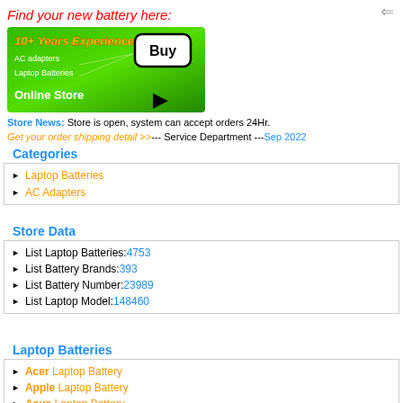Find your new battery here:
[Figure (illustration): Green banner advertisement showing '10+ Years Experience', AC adapters, Laptop Batteries, a Buy button, and Online Store text with cursor arrow]
Store News: Store is open, system can accept orders 24Hr.
Get your order shipping detail >>--- Service Department ---Sep 2022
Categories
Laptop Batteries
AC Adapters
Store Data
List Laptop Batteries:4753
List Battery Brands:393
List Battery Number:23989
List Laptop Model:148460
Laptop Batteries
Acer Laptop Battery
Apple Laptop Battery
Asus Laptop Battery